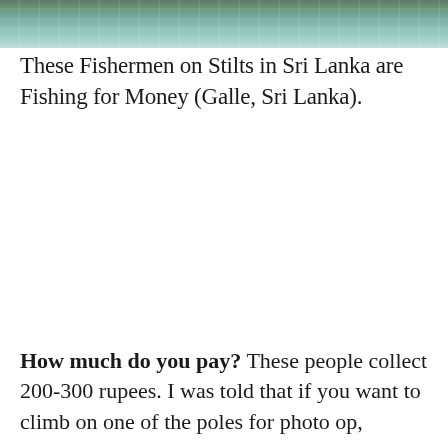[Figure (photo): Partial view of stilt fishermen in Sri Lanka scene, showing water and environment, cropped at top of page]
These Fishermen on Stilts in Sri Lanka are Fishing for Money (Galle, Sri Lanka).
How much do you pay? These people collect 200-300 rupees. I was told that if you want to climb on one of the poles for photo op,